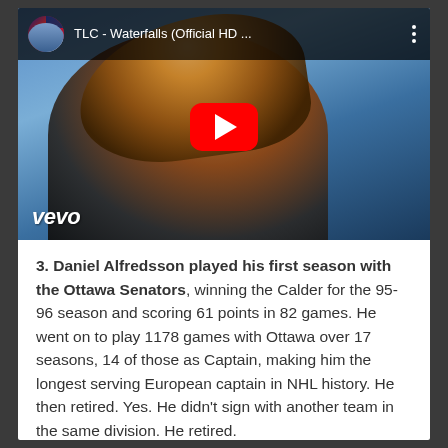[Figure (screenshot): YouTube video thumbnail for TLC - Waterfalls (Official HD ...) showing a woman with blonde hair against a blue background, with a red YouTube play button in the center. The Vevo logo appears in the bottom left. The video title bar at top shows a circular thumbnail and three-dot menu icon.]
3. Daniel Alfredsson played his first season with the Ottawa Senators, winning the Calder for the 95-96 season and scoring 61 points in 82 games. He went on to play 1178 games with Ottawa over 17 seasons, 14 of those as Captain, making him the longest serving European captain in NHL history. He then retired. Yes. He didn't sign with another team in the same division. He retired.